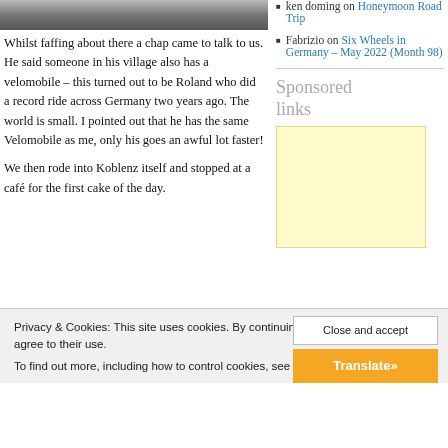[Figure (photo): Top of a grayscale photo partially visible at top of page]
Whilst faffing about there a chap came to talk to us. He said someone in his village also has a velomobile – this turned out to be Roland who did a record ride across Germany two years ago. The world is small. I pointed out that he has the same Velomobile as me, only his goes an awful lot faster!
We then rode into Koblenz itself and stopped at a café for the first cake of the day.
[Figure (photo): Photo of café scene with blue and green colours]
ken doming on Honeymoon Road Trip
Fabrizio on Six Wheels in Germany – May 2022 (Month 98)
Sponsored links
[Figure (other): Light yellow advertisement box]
Privacy & Cookies: This site uses cookies. By continuing to use this website, you agree to their use.
To find out more, including how to control cookies, see here: Cookie Policy
Close and accept
Translate »